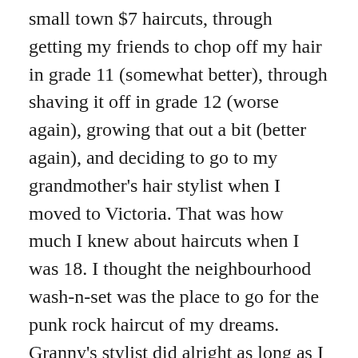small town $7 haircuts, through getting my friends to chop off my hair in grade 11 (somewhat better), through shaving it off in grade 12 (worse again), growing that out a bit (better again), and deciding to go to my grandmother's hair stylist when I moved to Victoria. That was how much I knew about haircuts when I was 18. I thought the neighbourhood wash-n-set was the place to go for the punk rock haircut of my dreams. Granny's stylist did alright as long as I kept it really short. It took me until I was about 20 to realize there were people who knew how to create a haircut on purpose, rather than just cutting to the approximate length and hoping for the best. My hair trauma is not helped by the coincidence that I was a giant nerd during